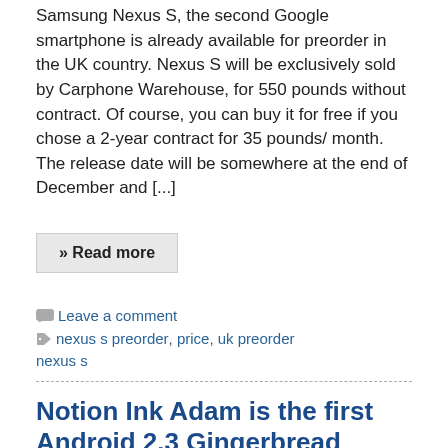Samsung Nexus S, the second Google smartphone is already available for preorder in the UK country. Nexus S will be exclusively sold by Carphone Warehouse, for 550 pounds without contract. Of course, you can buy it for free if you chose a 2-year contract for 35 pounds/ month. The release date will be somewhere at the end of December and [...]
» Read more
Leave a comment   nexus s preorder, price, uk preorder nexus s
Notion Ink Adam is the first Android 2.3 Gingerbread tablet
December 10, 2010   George   Tablets
Adam Notion Ink will be the first tablet to run the recently